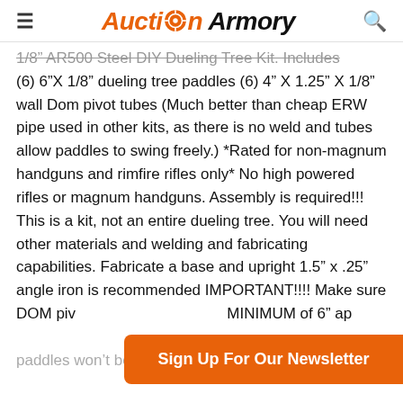Auction Armory
1/8" AR500 Steel DIY Dueling Tree Kit. Includes (6) 6"X 1/8" dueling tree paddles (6) 4" X 1.25" X 1/8" wall Dom pivot tubes (Much better than cheap ERW pipe used in other kits, as there is no weld and tubes allow paddles to swing freely.) *Rated for non-magnum handguns and rimfire rifles only* No high powered rifles or magnum handguns. Assembly is required!!! This is a kit, not an entire dueling tree. You will need other materials and welding and fabricating capabilities. Fabricate a base and upright 1.5" x .25" angle iron is recommended IMPORTANT!!!! Make sure DOM pivot tubes are spaced a MINIMUM of 6" apart center to center or paddles won't be able to be removed. WE CAN
Sign Up For Our Newsletter